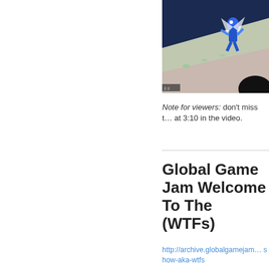[Figure (screenshot): Video game screenshot showing a blue animated character on a diagonal surface with green/pink coloring and dark background. A timestamp or counter is visible at the bottom left.]
Note for viewers: don't miss t… at 3:10 in the video.
Global Game Jam Welcome To The (WTFs)
http://archive.globalgamejam… show-aka-wtfs
[Figure (screenshot): Video thumbnail with dark background showing a green circular icon and text 'Welcome To Frea...']